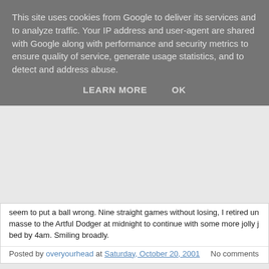This site uses cookies from Google to deliver its services and to analyze traffic. Your IP address and user-agent are shared with Google along with performance and security metrics to ensure quality of service, generate usage statistics, and to detect and address abuse.
LEARN MORE   OK
seem to put a ball wrong. Nine straight games without losing, I retired un masse to the Artful Dodger at midnight to continue with some more jolly j bed by 4am. Smiling broadly.
Posted by overyourhead at Saturday, October 20, 2001   No comments
Friday, October 19, 2001
Shameless not senseless...
I'm due to take part in a TV show next week - being filmed in my footie ki about sex. But now I'm not so sure. Even if the show did win an award th think?